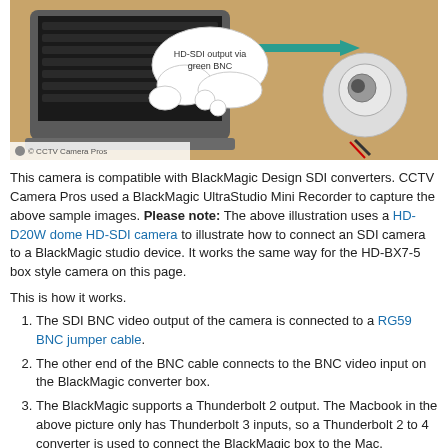[Figure (photo): Photo of a laptop and dome security camera on a wooden desk connected by cables, with a cloud callout bubble reading 'HD-SDI output via green BNC' and a teal arrow. Watermark: © CCTV Camera Pros]
This camera is compatible with BlackMagic Design SDI converters. CCTV Camera Pros used a BlackMagic UltraStudio Mini Recorder to capture the above sample images. Please note: The above illustration uses a HD-D20W dome HD-SDI camera to illustrate how to connect an SDI camera to a BlackMagic studio device. It works the same way for the HD-BX7-5 box style camera on this page.
This is how it works.
The SDI BNC video output of the camera is connected to a RG59 BNC jumper cable.
The other end of the BNC cable connects to the BNC video input on the BlackMagic converter box.
The BlackMagic supports a Thunderbolt 2 output. The Macbook in the above picture only has Thunderbolt 3 inputs, so a Thunderbolt 2 to 4 converter is used to connect the BlackMagic box to the Mac.
SDI to HDMI
[Figure (photo): Bottom portion of another photo showing camera equipment on a wooden surface, partially visible.]